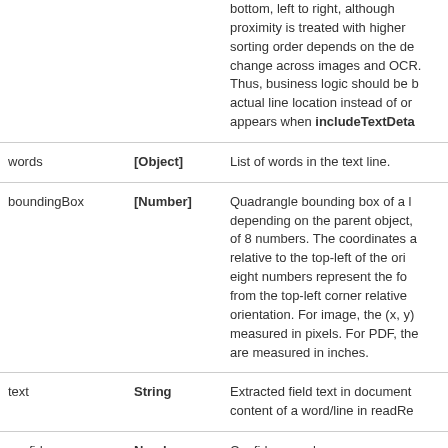| Field | Type | Description |
| --- | --- | --- |
|  |  | bottom, left to right, although proximity is treated with higher... sorting order depends on the de... change across images and OCR... Thus, business logic should be b... actual line location instead of or... appears when includeTextDeta... |
| words | [Object] | List of words in the text line. |
| boundingBox | [Number] | Quadrangle bounding box of a l... depending on the parent object,... of 8 numbers. The coordinates a... relative to the top-left of the ori... eight numbers represent the fo... from the top-left corner relative... orientation. For image, the (x, y)... measured in pixels. For PDF, the... are measured in inches. |
| text | String | Extracted field text in document... content of a word/line in readRe... |
| confidence | Number | Confidence value. |